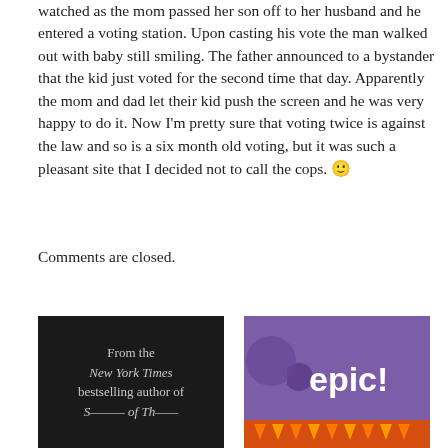watched as the mom passed her son off to her husband and he entered a voting station. Upon casting his vote the man walked out with baby still smiling. The father announced to a bystander that the kid just voted for the second time that day. Apparently the mom and dad let their kid push the screen and he was very happy to do it. Now I'm pretty sure that voting twice is against the law and so is a six month old voting, but it was such a pleasant site that I decided not to call the cops. 🙂
Comments are closed.
[Figure (photo): Book cover with dark background showing text: From the New York Times bestselling author of...]
[Figure (logo): Epic! app logo on purple background with moon shapes and orange/red banner at bottom]